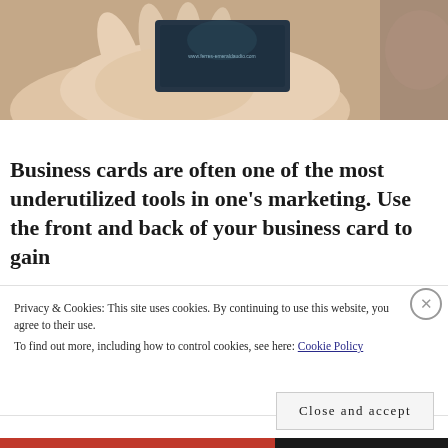[Figure (photo): A hand holding a business card with a website URL visible on it, against a blurred background]
Business cards are often one of the most underutilized tools in one's marketing. Use the front and back of your business card to gain
Privacy & Cookies: This site uses cookies. By continuing to use this website, you agree to their use.
To find out more, including how to control cookies, see here: Cookie Policy
Close and accept